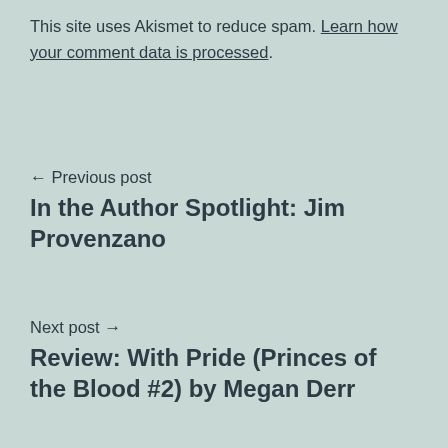This site uses Akismet to reduce spam. Learn how your comment data is processed.
← Previous post
In the Author Spotlight: Jim Provenzano
Next post →
Review: With Pride (Princes of the Blood #2) by Megan Derr